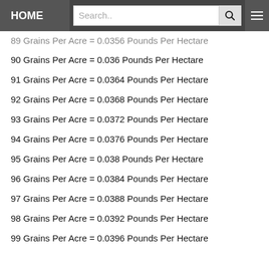HOME | Search..
89 Grains Per Acre = 0.0356 Pounds Per Hectare
90 Grains Per Acre = 0.036 Pounds Per Hectare
91 Grains Per Acre = 0.0364 Pounds Per Hectare
92 Grains Per Acre = 0.0368 Pounds Per Hectare
93 Grains Per Acre = 0.0372 Pounds Per Hectare
94 Grains Per Acre = 0.0376 Pounds Per Hectare
95 Grains Per Acre = 0.038 Pounds Per Hectare
96 Grains Per Acre = 0.0384 Pounds Per Hectare
97 Grains Per Acre = 0.0388 Pounds Per Hectare
98 Grains Per Acre = 0.0392 Pounds Per Hectare
99 Grains Per Acre = 0.0396 Pounds Per Hectare